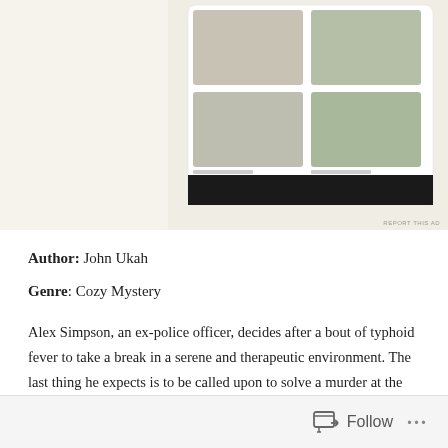[Figure (screenshot): Advertisement screenshot showing a WordPress logo, a green button, a small icon, and a food/restaurant app mockup with menu photos on a cream background. 'REPORT THIS AD' text in bottom right.]
Author: John Ukah
Genre: Cozy Mystery
Alex Simpson, an ex-police officer, decides after a bout of typhoid fever to take a break in a serene and therapeutic environment. The last thing he expects is to be called upon to solve a murder at the Kinging Guest Lodge. But that is what happens, when the delectable and vivacious Maria Marshall is found dead in her bedroom at midnight.
Follow ...